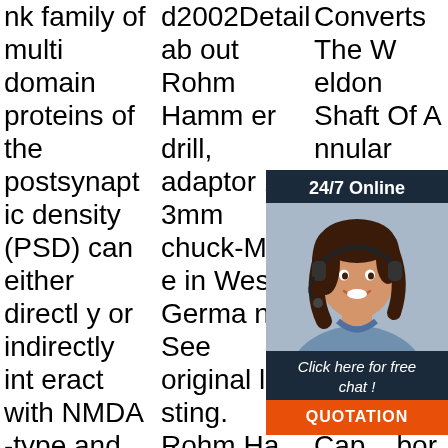nk family of multi domain proteins of the postsynaptic density (PSD) can either directly or indirectly interact with NMDA-type and metabotropic glutamate receptors and the actin-based cytoskeleton. In a yeast two hybrid screen utilizing a proline-rich domain that is highly conserved amo
d2002Details about Rohm Hammer drill, adaptor 13mm chuck-Made in West Germany See original listing. Rohm Hammer drill, adaptor 13mm chuck-Made in West Germany : Condition: Used. Ended: 11 Apr, 2021 19:31:17 AEST ... 13mm 1/2'Keyless Drill Chuck ...
Converts The Weldon Shaft Of Annular Cutter From 19 mm (1 ¼") To 3... This ... nk C... dea... 19 ... nula... A 3... Cap... bor. So The ZAP 200 Weldon Shaft Converters Makes It Possible To Use Annular C
[Figure (infographic): Customer service widget with '24/7 Online' header, photo of smiling woman with headset, 'Click here for free chat!' text, and orange QUOTATION button]
[Figure (other): Orange TOP watermark text with dotted splash effect in bottom right corner]